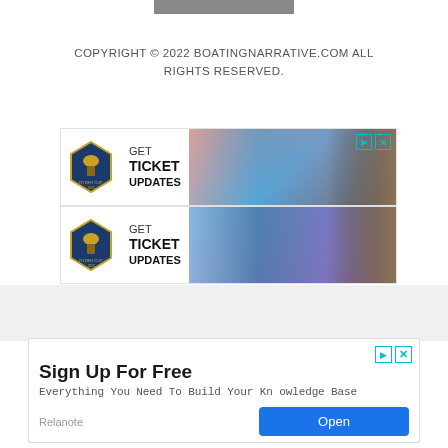[Figure (other): Dark gray horizontal bar at top of page]
COPYRIGHT © 2022 BOATINGNARRATIVE.COM ALL RIGHTS RESERVED.
[Figure (other): Ryder Cup advertisement banner (top) with logo, GET TICKET UPDATES text, and golfer photos]
[Figure (other): Ryder Cup advertisement banner (bottom) with logo, GET TICKET UPDATES text, and golfer photos]
[Figure (other): Sign Up For Free advertisement by Relanote with Open button]